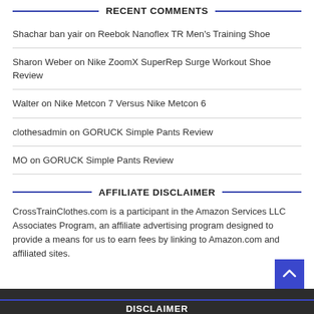RECENT COMMENTS
Shachar ban yair on Reebok Nanoflex TR Men's Training Shoe
Sharon Weber on Nike ZoomX SuperRep Surge Workout Shoe Review
Walter on Nike Metcon 7 Versus Nike Metcon 6
clothesadmin on GORUCK Simple Pants Review
MO on GORUCK Simple Pants Review
AFFILIATE DISCLAIMER
CrossTrainClothes.com is a participant in the Amazon Services LLC Associates Program, an affiliate advertising program designed to provide a means for us to earn fees by linking to Amazon.com and affiliated sites.
DISCLAIMER